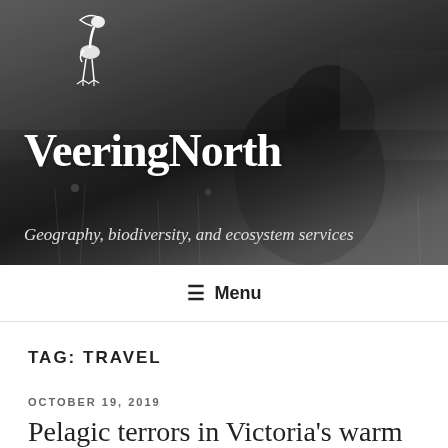[Figure (photo): Black and white photograph of a dark shaggy dog in a field with vegetation, trees visible in background. A white bird (ibis/heron) logo silhouette is overlaid in the upper left area.]
VeeringNorth
Geography, biodiversity, and ecosystem services
☰ Menu
TAG: TRAVEL
OCTOBER 19, 2019
Pelagic terrors in Victoria's warm embrace